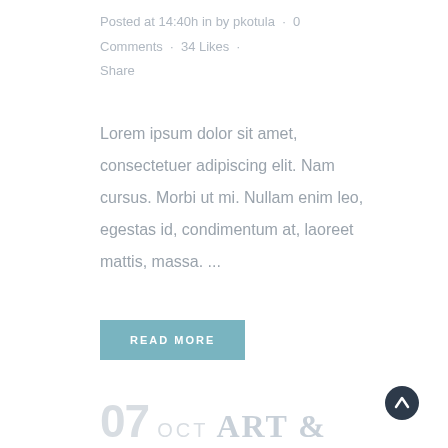Posted at 14:40h in by pkotula · 0 Comments · 34 Likes · Share
Lorem ipsum dolor sit amet, consectetuer adipiscing elit. Nam cursus. Morbi ut mi. Nullam enim leo, egestas id, condimentum at, laoreet mattis, massa. ...
READ MORE
07 OCT ART &